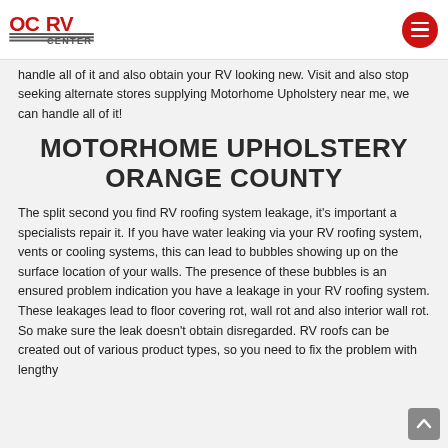OC RV CENTER
handle all of it and also obtain your RV looking new. Visit and also stop seeking alternate stores supplying Motorhome Upholstery near me, we can handle all of it!
MOTORHOME UPHOLSTERY ORANGE COUNTY
The split second you find RV roofing system leakage, it's important a specialists repair it. If you have water leaking via your RV roofing system, vents or cooling systems, this can lead to bubbles showing up on the surface location of your walls. The presence of these bubbles is an ensured problem indication you have a leakage in your RV roofing system. These leakages lead to floor covering rot, wall rot and also interior wall rot. So make sure the leak doesn't obtain disregarded. RV roofs can be created out of various product types, so you need to fix the problem with lengthy